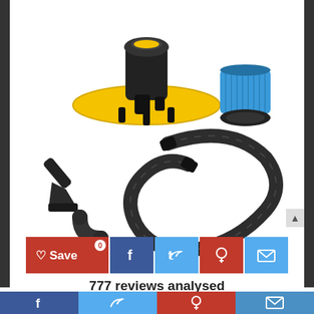[Figure (photo): Vacuum cleaner accessory kit: motor unit with yellow disc base, blue cylindrical filter with black cap, crevice tool attachment, elbow connector, and long black corrugated hose]
[Figure (infographic): Social sharing bar with Save button (red, heart icon, 0 count), Facebook (dark blue), Twitter (light blue), Pinterest (red), Email (light blue) buttons]
777 reviews analysed
Facebook | Twitter | Pinterest | Email